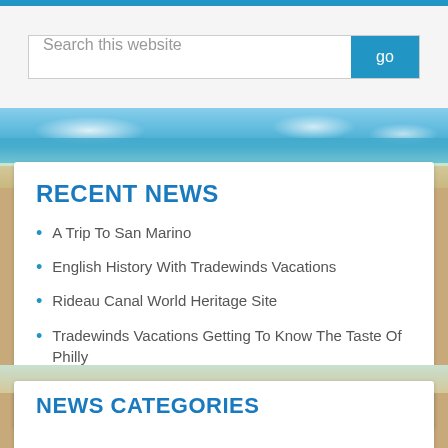[Figure (screenshot): Search bar with placeholder text 'Search this website' and blue 'go' button]
[Figure (photo): Beach scene with blue sky, water, and sandy shore]
RECENT NEWS
A Trip To San Marino
English History With Tradewinds Vacations
Rideau Canal World Heritage Site
Tradewinds Vacations Getting To Know The Taste Of Philly
Viva Nepal
NEWS CATEGORIES